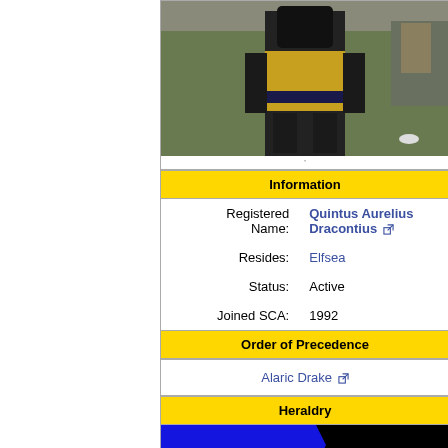[Figure (photo): Person in medieval armor with black and gold/yellow surcoat at outdoor event]
'
| Registered Name: | Quintus Aurelius Dracontius |
| Resides: | Elfsea |
| Status: | Active |
| Joined SCA: | 1992 |
Information
Order of Precedence
Alaric Drake
Heraldry
[Figure (illustration): Heraldry image: blue and black field with gold crown]